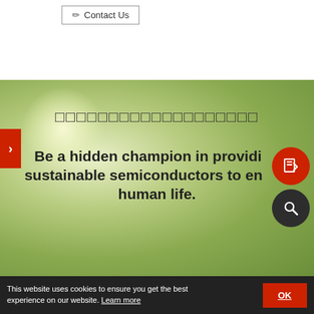Contact Us
[Figure (illustration): Green bokeh background with blurred leaves and light spots, forming the hero banner of a semiconductor company website]
□□□□□□□□□□□□□□□□□□□
Be a hidden champion in providing sustainable semiconductors to enrich human life.
This website uses cookies to ensure you get the best experience on our website. Learn more
OK